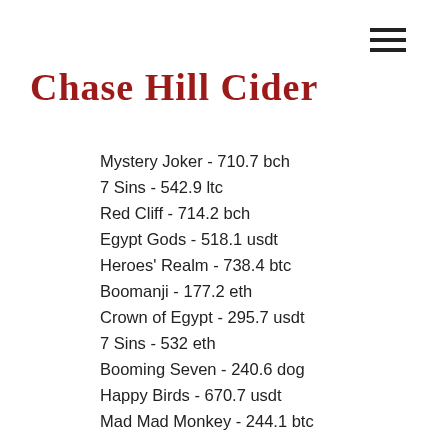Chase Hill Cider
Mystery Joker - 710.7 bch
7 Sins - 542.9 ltc
Red Cliff - 714.2 bch
Egypt Gods - 518.1 usdt
Heroes' Realm - 738.4 btc
Boomanji - 177.2 eth
Crown of Egypt - 295.7 usdt
7 Sins - 532 eth
Booming Seven - 240.6 dog
Happy Birds - 670.7 usdt
Mad Mad Monkey - 244.1 btc
Best Slots Games:
Playamo Casino Lucky Haunter
mBTC free bet Dino Reels 81